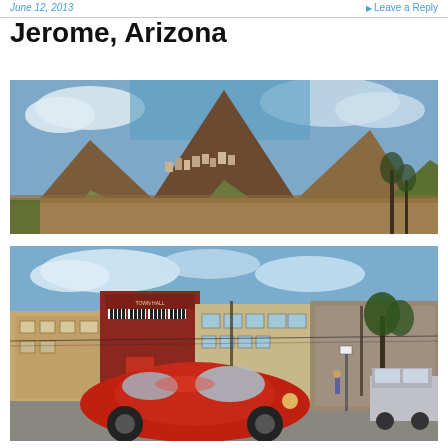June 12, 2013   Leave a Reply
Jerome, Arizona
[Figure (photo): Wide panoramic landscape photo of Jerome, Arizona showing a mountain hillside with buildings nestled on the slope, dry brush terrain, blue cloudy sky]
[Figure (photo): Street-level photo of Jerome, Arizona showing a vintage red Volkswagen Beetle in the foreground, with historic brick town hall building with striped awnings and other buildings in the background, blue sky with clouds]